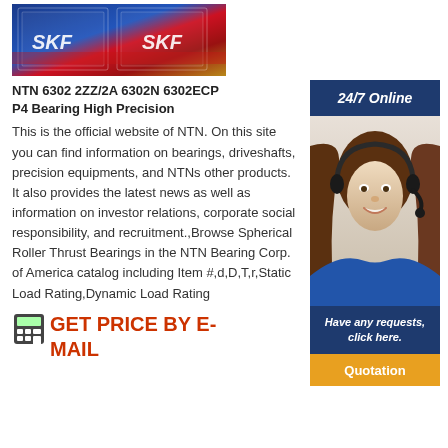[Figure (photo): SKF branded bearing boxes stacked, showing blue and red packaging with SKF logo]
NTN 6302 2ZZ/2A 6302N 6302ECP P4 Bearing High Precision
This is the official website of NTN. On this site you can find information on bearings, driveshafts, precision equipments, and NTNs other products. It also provides the latest news as well as information on investor relations, corporate social responsibility, and recruitment.,Browse Spherical Roller Thrust Bearings in the NTN Bearing Corp. of America catalog including Item #,d,D,T,r,Static Load Rating,Dynamic Load Rating
[Figure (infographic): 24/7 Online customer service panel with agent photo, Have any requests click here text, and Quotation button]
GET PRICE BY E-MAIL